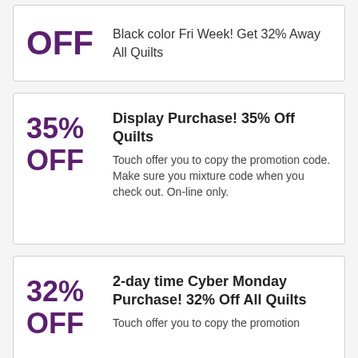OFF — Black color Fri Week! Get 32% Away All Quilts
Display Purchase! 35% Off Quilts
Touch offer you to copy the promotion code. Make sure you mixture code when you check out. On-line only.
2-day time Cyber Monday Purchase! 32% Off All Quilts
Touch offer you to copy the promotion